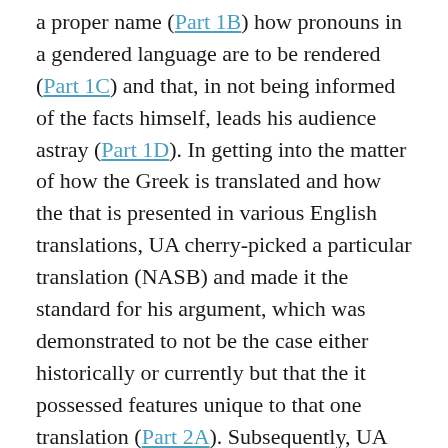a proper name (Part 1B) how pronouns in a gendered language are to be rendered (Part 1C) and that, in not being informed of the facts himself, leads his audience astray (Part 1D). In getting into the matter of how the Greek is translated and how the that is presented in various English translations, UA cherry-picked a particular translation (NASB) and made it the standard for his argument, which was demonstrated to not be the case either historically or currently but that the it possessed features unique to that one translation (Part 2A). Subsequently, UA demonstrates an inconsistency in method that violated established grammar rules in an attempt to maintain his argument (Part 2B).